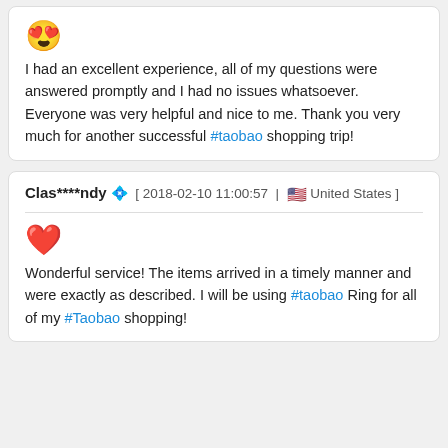😍 I had an excellent experience, all of my questions were answered promptly and I had no issues whatsoever. Everyone was very helpful and nice to me. Thank you very much for another successful #taobao shopping trip!
Clas****ndy 💎 [ 2018-02-10 11:00:57 | 🇺🇸 United States ]
❤️ Wonderful service! The items arrived in a timely manner and were exactly as described. I will be using #taobao Ring for all of my #Taobao shopping!